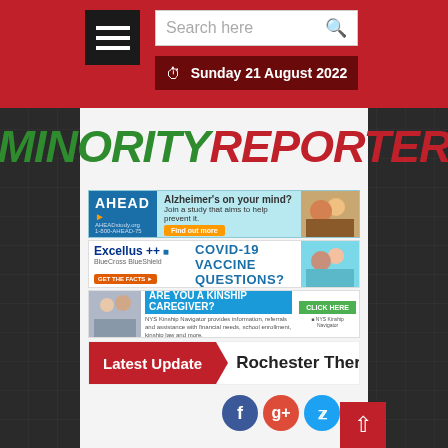Sunday 21 August 2022
MINORITY REPORTER
[Figure (infographic): AHEAD study advertisement: Alzheimer's on your mind? Join a study that aims to help prevent it. Find out more. AHEADstudy.org 1-800-AHEAD-75]
[Figure (infographic): Excellus BlueCross BlueShield advertisement: COVID-19 VACCINE QUESTIONS? GET THE FACTS]
[Figure (infographic): Kinship Caregiver advertisement: ARE YOU A KINSHIP CAREGIVER? NYS Kinship Navigator provides information, referrals and assistance with financial needs, school enrollment, kinship law and more. CLICK HERE]
Latest Update   Rochester There's A